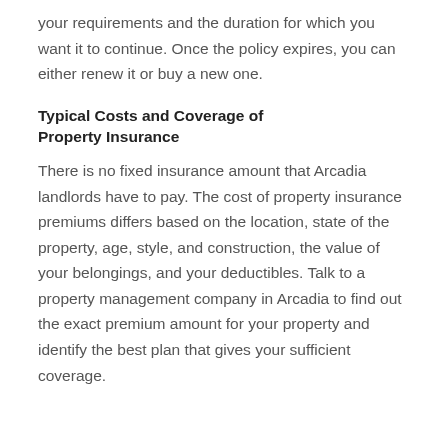your requirements and the duration for which you want it to continue. Once the policy expires, you can either renew it or buy a new one.
Typical Costs and Coverage of Property Insurance
There is no fixed insurance amount that Arcadia landlords have to pay. The cost of property insurance premiums differs based on the location, state of the property, age, style, and construction, the value of your belongings, and your deductibles. Talk to a property management company in Arcadia to find out the exact premium amount for your property and identify the best plan that gives your sufficient coverage.